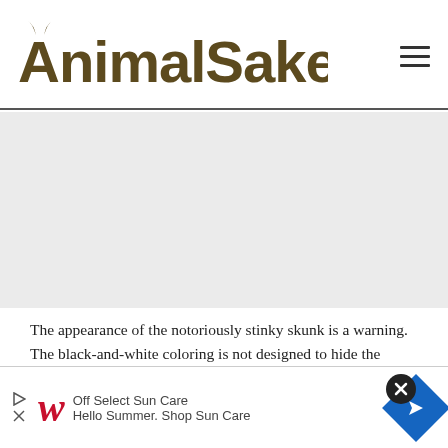AnimalSake
[Figure (other): Gray advertisement placeholder area]
The appearance of the notoriously stinky skunk is a warning. The black-and-white coloring is not designed to hide the skunk—just the opposite, in fact. It is designed to make the skunk clearly visible to all potential predators, and sound a warning that the anim...
[Figure (other): Advertisement overlay with close button (X), Walgreens logo, text: Off Select Sun Care / Hello Summer. Shop Sun Care, and a blue navigation arrow diamond icon]